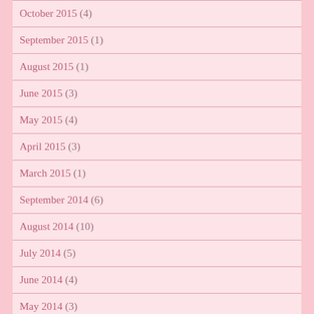October 2015 (4)
September 2015 (1)
August 2015 (1)
June 2015 (3)
May 2015 (4)
April 2015 (3)
March 2015 (1)
September 2014 (6)
August 2014 (10)
July 2014 (5)
June 2014 (4)
May 2014 (3)
April 2014 (4)
March 2014 (6)
September 2013 (1)